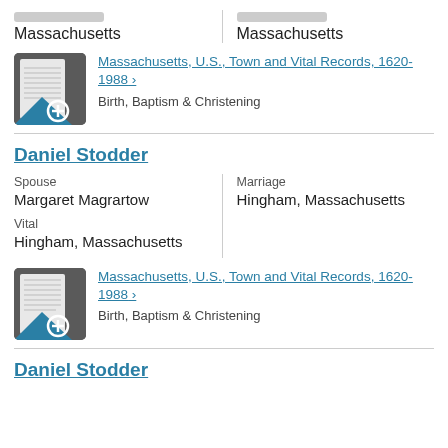Massachusetts
Massachusetts
[Figure (photo): Thumbnail image of historical document record]
Massachusetts, U.S., Town and Vital Records, 1620-1988 > Birth, Baptism & Christening
Daniel Stodder
Spouse
Margaret Magrartow
Vital
Hingham, Massachusetts
Marriage
Hingham, Massachusetts
[Figure (photo): Thumbnail image of historical document record]
Massachusetts, U.S., Town and Vital Records, 1620-1988 > Birth, Baptism & Christening
Daniel Stodder